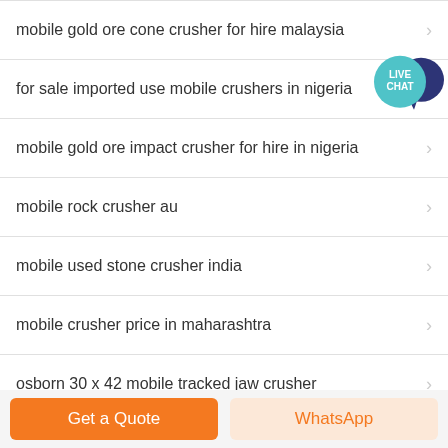mobile gold ore cone crusher for hire malaysia
for sale imported use mobile crushers in nigeria
mobile gold ore impact crusher for hire in nigeria
mobile rock crusher au
mobile used stone crusher india
mobile crusher price in maharashtra
osborn 30 x 42 mobile tracked jaw crusher
mobile crusher tereand
Get a Quote
WhatsApp